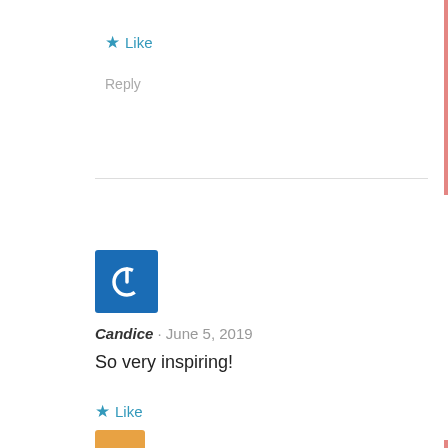★ Like
Reply
[Figure (illustration): Blue square avatar with white power button icon — Candice's profile picture]
Candice · June 5, 2019
So very inspiring!
★ Like
Reply